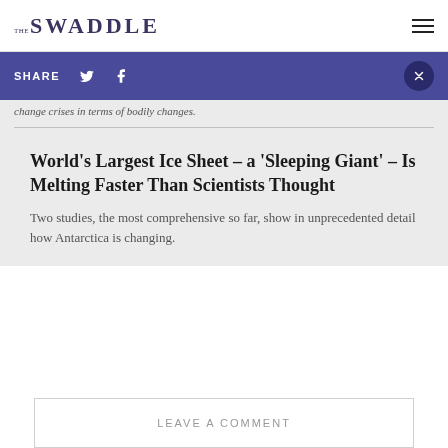THE SWADDLE
SHARE
change crises in terms of bodily changes.
World's Largest Ice Sheet – a 'Sleeping Giant' – Is Melting Faster Than Scientists Thought
Two studies, the most comprehensive so far, show in unprecedented detail how Antarctica is changing.
LEAVE A COMMENT